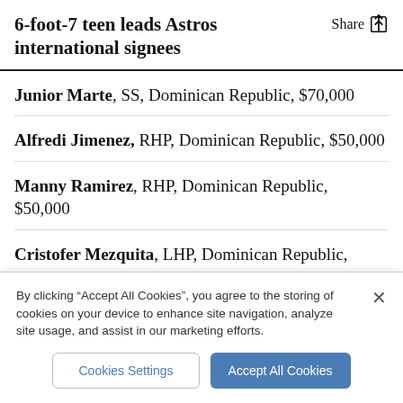6-foot-7 teen leads Astros international signees
Junior Marte, SS, Dominican Republic, $70,000
Alfredi Jimenez, RHP, Dominican Republic, $50,000
Manny Ramirez, RHP, Dominican Republic, $50,000
Cristofer Mezquita, LHP, Dominican Republic,
By clicking “Accept All Cookies”, you agree to the storing of cookies on your device to enhance site navigation, analyze site usage, and assist in our marketing efforts.